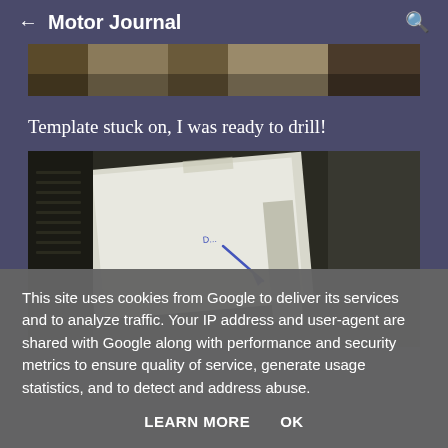← Motor Journal 🔍
[Figure (photo): Partial view of a photograph showing what appears to be a brick or stone surface with warm brown tones, cropped at the top of the page]
Template stuck on, I was ready to drill!
[Figure (photo): A photograph showing a white paper template taped onto a dark metallic surface (appears to be a car part), with a blue handwritten arrow drawn on the paper template indicating a drill point]
This site uses cookies from Google to deliver its services and to analyze traffic. Your IP address and user-agent are shared with Google along with performance and security metrics to ensure quality of service, generate usage statistics, and to detect and address abuse.
LEARN MORE  OK